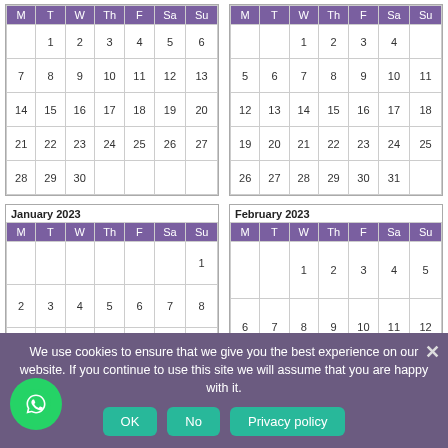| M | T | W | Th | F | Sa | Su |
| --- | --- | --- | --- | --- | --- | --- |
|  | 1 | 2 | 3 | 4 | 5 | 6 |
| 7 | 8 | 9 | 10 | 11 | 12 | 13 |
| 14 | 15 | 16 | 17 | 18 | 19 | 20 |
| 21 | 22 | 23 | 24 | 25 | 26 | 27 |
| 28 | 29 | 30 |  |  |  |  |
| M | T | W | Th | F | Sa | Su |
| --- | --- | --- | --- | --- | --- | --- |
|  |  | 1 | 2 | 3 | 4 |  |
| 5 | 6 | 7 | 8 | 9 | 10 | 11 |
| 12 | 13 | 14 | 15 | 16 | 17 | 18 |
| 19 | 20 | 21 | 22 | 23 | 24 | 25 |
| 26 | 27 | 28 | 29 | 30 | 31 |  |
| M | T | W | Th | F | Sa | Su |
| --- | --- | --- | --- | --- | --- | --- |
|  |  |  |  |  |  | 1 |
| 2 | 3 | 4 | 5 | 6 | 7 | 8 |
| 9 | 10 | 11 | 12 | 13 | 14 | 15 |
| 16 | 17 | 18 | 19 | 20 | 21 | 22 |
| M | T | W | Th | F | Sa | Su |
| --- | --- | --- | --- | --- | --- | --- |
|  |  | 1 | 2 | 3 | 4 | 5 |
| 6 | 7 | 8 | 9 | 10 | 11 | 12 |
| 13 | 14 | 15 | 16 | 17 | 18 | 19 |
We use cookies to ensure that we give you the best experience on our website. If you continue to use this site we will assume that you are happy with it.